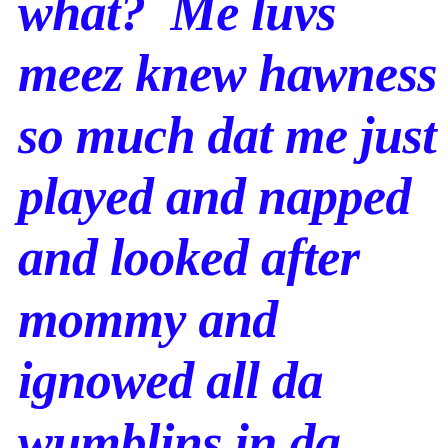what?  Me luvs meez knew hawness so much dat me just played and napped and looked after mommy and ignowed all da wumblins in da heavens. Okay, at